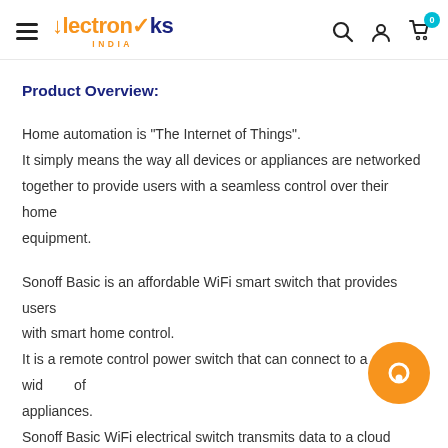Electroniks INDIA — navigation header with search, account, and cart icons
Product Overview:
Home automation is "The Internet of Things".
It simply means the way all devices or appliances are networked together to provide users with a seamless control over their home equipment.
Sonoff Basic is an affordable WiFi smart switch that provides users with smart home control.
It is a remote control power switch that can connect to a wide range of appliances.
Sonoff Basic WiFi electrical switch transmits data to a cloud platform